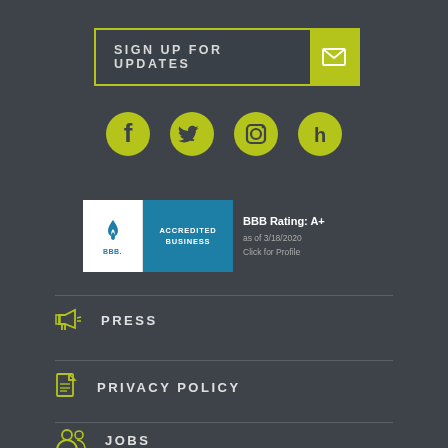SIGN UP FOR UPDATES
[Figure (other): Social media icons: Facebook, Twitter, Instagram, Houzz in yellow/olive color]
[Figure (other): BBB Accredited Business badge with rating A+ as of 3/18/2020, Click for Profile]
PRESS
PRIVACY POLICY
JOBS